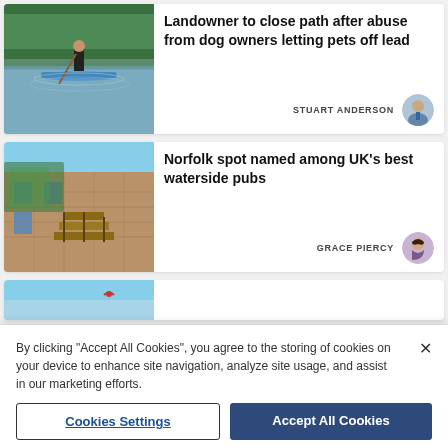[Figure (photo): Person paddleboarding on a river with green trees in background]
Landowner to close path after abuse from dog owners letting pets off lead
STUART ANDERSON
[Figure (photo): Historic stone building with ivy, outdoor seating area with wooden steps, waterside pub]
Norfolk spot named among UK's best waterside pubs
GRACE PIERCY
[Figure (photo): Partial view of a third article image, blue sky visible]
By clicking "Accept All Cookies", you agree to the storing of cookies on your device to enhance site navigation, analyze site usage, and assist in our marketing efforts.
Cookies Settings
Accept All Cookies